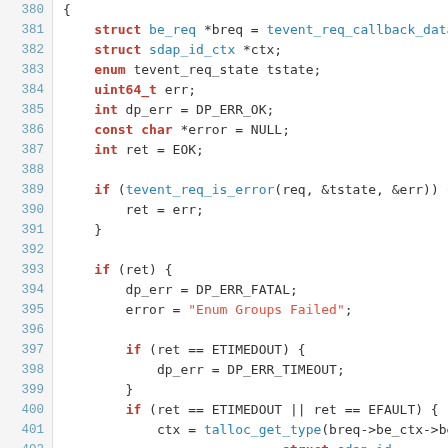[Figure (screenshot): Source code listing in C, lines 380-402, showing a function body with struct declarations, error handling with if blocks, and calls to tevent and talloc functions. Syntax highlighted with blue for identifiers/functions, red for keywords/strings, dark for punctuation/operators.]